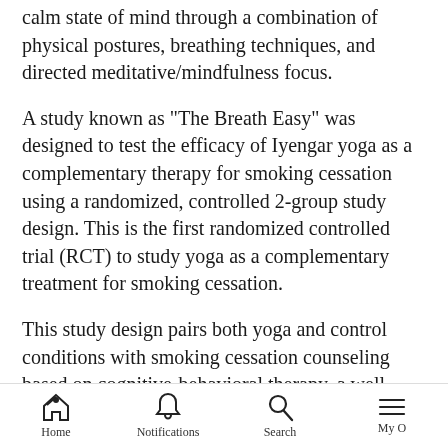calm state of mind through a combination of physical postures, breathing techniques, and directed meditative/mindfulness focus.
A study known as "The Breath Easy" was designed to test the efficacy of Iyengar yoga as a complementary therapy for smoking cessation using a randomized, controlled 2-group study design. This is the first randomized controlled trial (RCT) to study yoga as a complementary treatment for smoking cessation.
This study design pairs both yoga and control conditions with smoking cessation counseling based on cognitive-behavioral therapy, a well-tested, effective
Home   Notifications   Search   My O